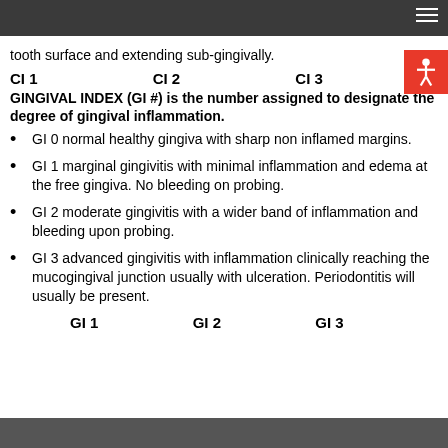tooth surface and extending sub-gingivally.
CI 1    CI 2    CI 3
GINGIVAL INDEX (GI #) is the number assigned to designate the degree of gingival inflammation.
GI 0 normal healthy gingiva with sharp non inflamed margins.
GI 1 marginal gingivitis with minimal inflammation and edema at the free gingiva. No bleeding on probing.
GI 2 moderate gingivitis with a wider band of inflammation and bleeding upon probing.
GI 3 advanced gingivitis with inflammation clinically reaching the mucogingival junction usually with ulceration. Periodontitis will usually be present.
GI 1    GI 2    GI 3